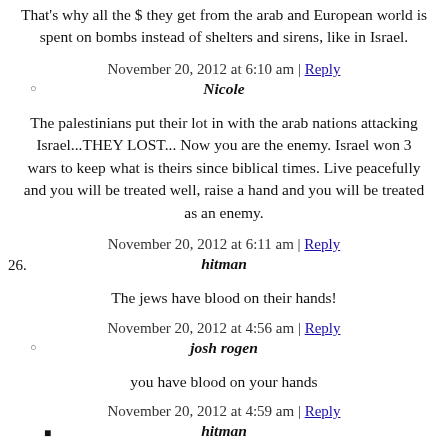That's why all the $ they get from the arab and European world is spent on bombs instead of shelters and sirens, like in Israel.
November 20, 2012 at 6:10 am | Reply
Nicole
The palestinians put their lot in with the arab nations attacking Israel...THEY LOST... Now you are the enemy. Israel won 3 wars to keep what is theirs since biblical times. Live peacefully and you will be treated well, raise a hand and you will be treated as an enemy.
November 20, 2012 at 6:11 am | Reply
hitman
The jews have blood on their hands!
November 20, 2012 at 4:56 am | Reply
josh rogen
you have blood on your hands
November 20, 2012 at 4:59 am | Reply
hitman